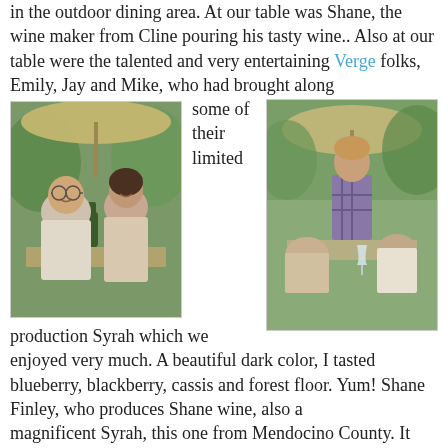in the outdoor dining area. At our table was Shane, the wine maker from Cline pouring his tasty wine.. Also at our table were the talented and very entertaining Verge folks, Emily, Jay and Mike, who had brought along some of their limited production Syrah which we enjoyed very much. A beautiful dark color, I tasted blueberry, blackberry, cassis and forest floor. Yum! Shane Finley, who produces Shane wine, also a magnificent Syrah, this one from Mendocino County. It was at once smoked meat, fruit and deliciousness. I fit right in having brought a Tanner Syrah from my favorite, Twisted Oaks. We had tasty Syrah for days! I tried some other things, all good, but they were not as memorable as those vivid Syrahs! Along with the fresh pasta and English peas carbonara, and polenta with wild mushrooms infused with
[Figure (photo): Two people (a man and a woman) sitting at an outdoor dining table under umbrellas, smiling at the camera. Wine glasses and food visible on table.]
[Figure (photo): A man in a plaid shirt standing at an outdoor dining table, speaking with seated guests. Umbrellas visible in background.]